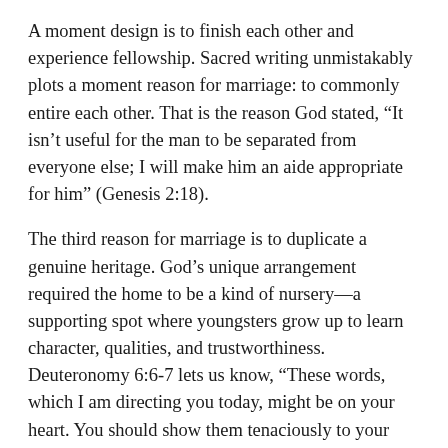A moment design is to finish each other and experience fellowship. Sacred writing unmistakably plots a moment reason for marriage: to commonly entire each other. That is the reason God stated, “It isn’t useful for the man to be separated from everyone else; I will make him an aide appropriate for him” (Genesis 2:18).
The third reason for marriage is to duplicate a genuine heritage. God’s unique arrangement required the home to be a kind of nursery—a supporting spot where youngsters grow up to learn character, qualities, and trustworthiness. Deuteronomy 6:6-7 lets us know, “These words, which I am directing you today, might be on your heart. You should show them tenaciously to your children and might discuss them when you sit in your home and when you stroll incidentally and when you rest and when you ascend.”
Marriage is much more vital than the greater part of us